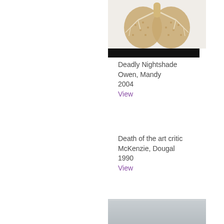[Figure (photo): Artwork image of lungs made from seeds/organic material (Deadly Nightshade) on white background, with black bar across bottom]
Deadly Nightshade
Owen, Mandy
2004
View
Death of the art critic
McKenzie, Dougal
1990
View
[Figure (photo): Artwork image partially visible at bottom of page, grey/silver toned]